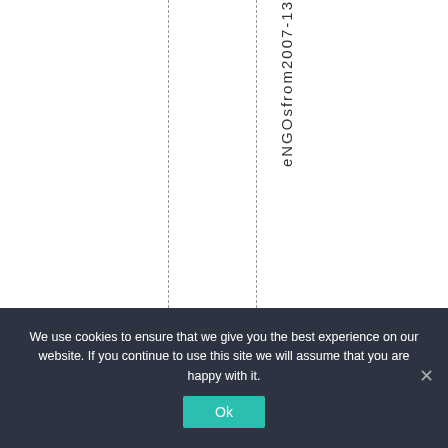eNGOsfrom2007-13
We use cookies to ensure that we give you the best experience on our website. If you continue to use this site we will assume that you are happy with it.